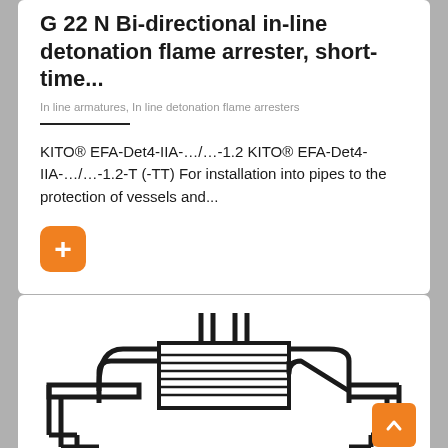G 22 N Bi-directional in-line detonation flame arrester, short-time...
In line armatures, In line detonation flame arresters
KITO® EFA-Det4-IIA-…/…-1.2 KITO® EFA-Det4-IIA-…/…-1.2-T (-TT) For installation into pipes to the protection of vessels and...
[Figure (engineering-diagram): Schematic diagram of a bi-directional in-line detonation flame arrester showing pipe connections on left and right with a central flame arrester element depicted with horizontal lines (element housing), and vertical pipes above connecting at the center.]